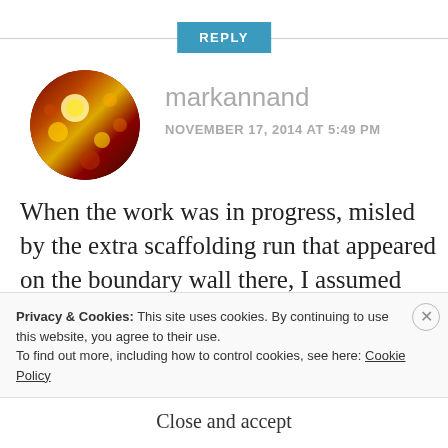REPLY
[Figure (photo): Circular avatar image showing a colorful mosaic or floral pattern with red, gold, and dark tones]
markannand
NOVEMBER 17, 2014 AT 5:49 PM
When the work was in progress, misled by the extra scaffolding run that appeared on the boundary wall there, I assumed (wrongly) that as part of the bridge
Privacy & Cookies: This site uses cookies. By continuing to use this website, you agree to their use.
To find out more, including how to control cookies, see here: Cookie Policy
Close and accept